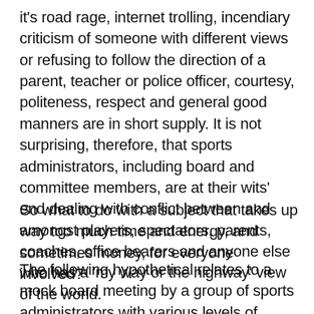it's road rage, internet trolling, incendiary criticism of someone with different views or refusing to follow the direction of a parent, teacher or police officer, courtesy, politeness, respect and general good manners are in short supply. It is not surprising, therefore, that sports administrators, including board and committee members, are at their wits' end dealing with conflict between and amongst players, spectators, parents, coaches, office bearers and anyone else who has a 'my way or the highway' view of the world.
So what to do with a subject that takes up way too much time and energy, and sometimes money, for everyone involved?
The following hypothetical relates to a mock board meeting by a group of sports administrators with various levels of experience. Their thoughts and ideas are in the